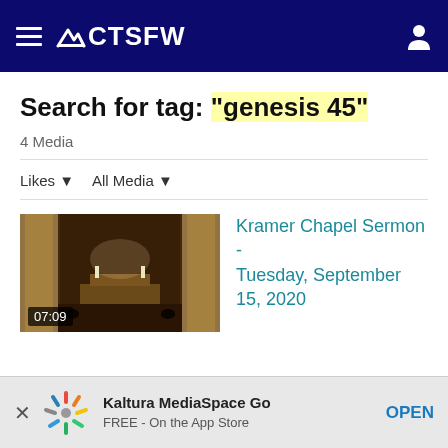CTSFW
Search for tag: "genesis 45"
4 Media
Likes  All Media
[Figure (screenshot): Chapel interior thumbnail with timestamp 07:09]
Kramer Chapel Sermon - Tuesday, September 15, 2020
Kaltura MediaSpace Go
FREE - On the App Store
OPEN